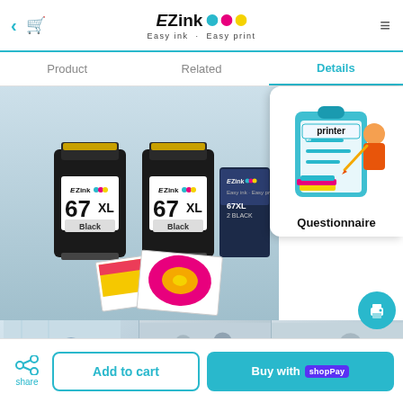EZink • Easy ink · Easy print
Product   Related   Details
[Figure (photo): Product photo of two EZink 67XL Black ink cartridges and a 2-pack box, along with printed sample pages including a colorful flower photo, shown on a light blue/grey studio background.]
[Figure (illustration): Questionnaire popup card with illustration of person writing on clipboard, with 'printer' label at top and 'Questionnaire' text at bottom.]
[Figure (photo): Three panel strip of office/meeting room photos showing people in a business setting.]
Add to cart
Buy with shop pay
share